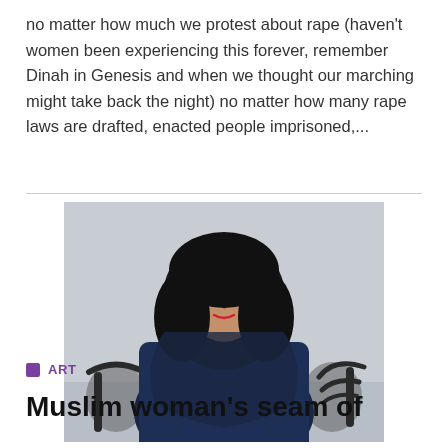no matter how much we protest about rape (haven't women been experiencing this forever, remember Dinah in Genesis and when we thought our marching might take back the night) no matter how many rape laws are drafted, enacted people imprisoned,...
[Figure (photo): Portrait photograph of a woman wearing a black hijab and dark navy blue abaya, seated with black chairs visible in the background, against a light grey wall.]
ART
Muslim woman's seam of